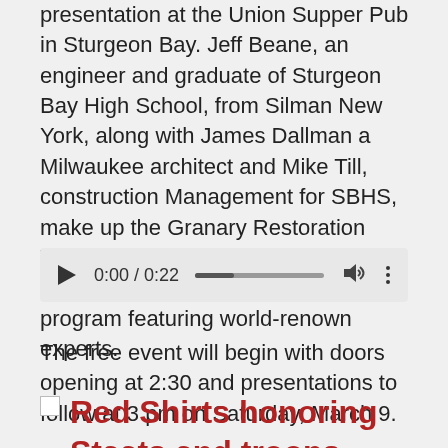presentation at the Union Supper Pub in Sturgeon Bay. Jeff Beane, an engineer and graduate of Sturgeon Bay High School, from Silman New York, along with James Dallman a Milwaukee architect and Mike Till, construction Management for SBHS, make up the Granary Restoration Team.  Annie Lampert for SBHS shares the plans for the special program featuring world-renown experts.
[Figure (other): Audio player widget showing play button, time 0:00 / 0:22, progress bar, volume icon, and more options icon]
The free event will begin with doors opening at 2:30 and presentations to follow at 3 pm on Saturday, March 9.
Red Shirts honoring Staats and troops